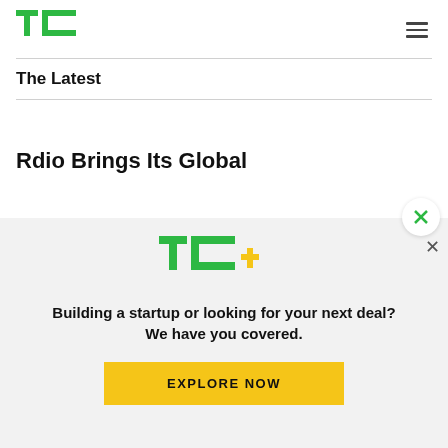[Figure (logo): TechCrunch TC green logo in top left]
The Latest
Rdio Brings Its Global
[Figure (infographic): TC+ modal overlay with TechCrunch plus logo, text 'Building a startup or looking for your next deal? We have you covered.' and an EXPLORE NOW button in yellow]